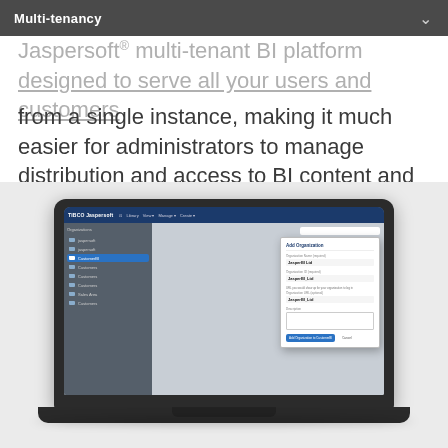Multi-tenancy
Jaspersoft® multi-tenant BI platform designed to serve all your users and customers from a single instance, making it much easier for administrators to manage distribution and access to BI content and data.
[Figure (screenshot): Laptop computer displaying a TIBCO Jaspersoft BI platform interface with a file/folder navigation sidebar on the left, a search bar, and an 'Add Organization' dialog box open on the right side of the screen.]